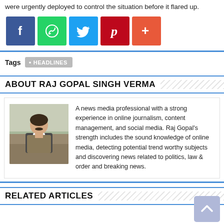were urgently deployed to control the situation before it flared up.
[Figure (infographic): Social share buttons: Facebook (blue), WhatsApp (green), Twitter (light blue), Pinterest (red), More/Plus (orange-red)]
Tags  • HEADLINES
ABOUT RAJ GOPAL SINGH VERMA
[Figure (photo): Portrait photo of Raj Gopal Singh Verma, a middle-aged man in a vest/sweater]
A news media professional with a strong experience in online journalism, content management, and social media. Raj Gopal's strength includes the sound knowledge of online media, detecting potential trend worthy subjects and discovering news related to politics, law & order and breaking news.
RELATED ARTICLES